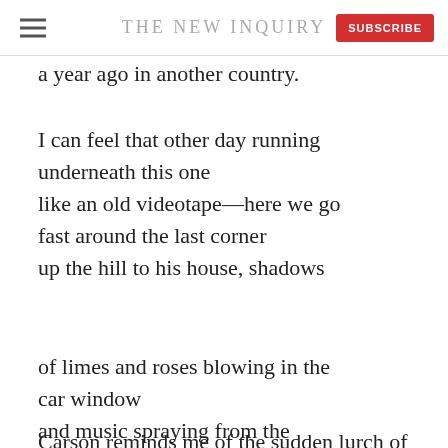THE NEW INQUIRY
a year ago in another country.
I can feel that other day running
underneath this one
like an old videotape—here we go
fast around the last corner
up the hill to his house, shadows
of limes and roses blowing in the
car window
and music spraying from the
radio and him
singing and touching my left
hand to his lips.
Carson reminds me of the sudden lurch of